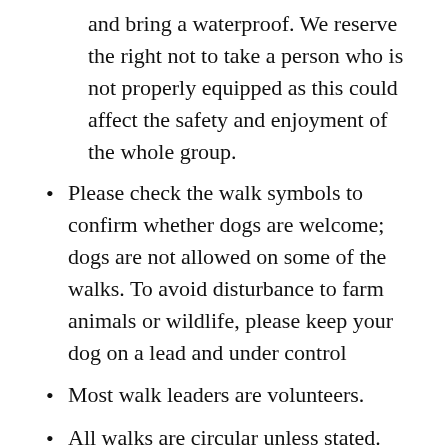and bring a waterproof. We reserve the right not to take a person who is not properly equipped as this could affect the safety and enjoyment of the whole group.
Please check the walk symbols to confirm whether dogs are welcome; dogs are not allowed on some of the walks. To avoid disturbance to farm animals or wildlife, please keep your dog on a lead and under control
Most walk leaders are volunteers.
All walks are circular unless stated.
In poor weather the leader may modify the walk, or in extreme conditions, cancel it.
A packed lunch may be required; look for the symbol on the walk details. It is advisable to